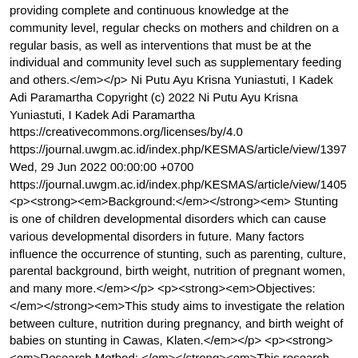providing complete and continuous knowledge at the community level, regular checks on mothers and children on a regular basis, as well as interventions that must be at the individual and community level such as supplementary feeding and others.</em></p> Ni Putu Ayu Krisna Yuniastuti, I Kadek Adi Paramartha Copyright (c) 2022 Ni Putu Ayu Krisna Yuniastuti, I Kadek Adi Paramartha https://creativecommons.org/licenses/by/4.0 https://journal.uwgm.ac.id/index.php/KESMAS/article/view/1397 Wed, 29 Jun 2022 00:00:00 +0700 https://journal.uwgm.ac.id/index.php/KESMAS/article/view/1405 <p><strong><em>Background:</em></strong><em> Stunting is one of children developmental disorders which can cause various developmental disorders in future. Many factors influence the occurrence of stunting, such as parenting, culture, parental background, birth weight, nutrition of pregnant women, and many more.</em></p> <p><strong><em>Objectives: </em></strong><em>This study aims to investigate the relation between culture, nutrition during pregnancy, and birth weight of babies on stunting in Cawas, Klaten.</em></p> <p><strong><em>Research Method: </em></strong><em>This research was an observational analytic study with a cross sectional design. This research was conducted during October-November 2021 in the Working Area of Community Health Center II, Cawas, Klaten and mothers with children aged 2-5 years old as the population.</em></p> <p><strong><em>Results: </em></strong><em>Of 170 respondents,